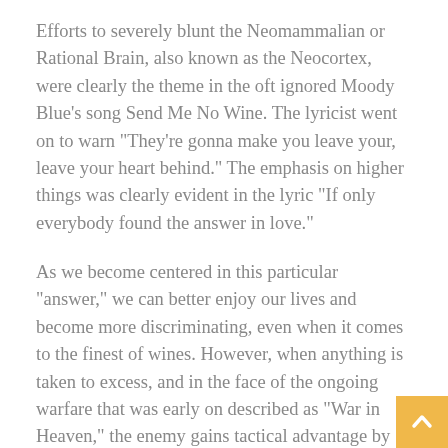Efforts to severely blunt the Neomammalian or Rational Brain, also known as the Neocortex, were clearly the theme in the oft ignored Moody Blue’s song Send Me No Wine. The lyricist went on to warn “They’re gonna make you leave your, leave your heart behind.” The emphasis on higher things was clearly evident in the lyric “If only everybody found the answer in love.”
As we become centered in this particular “answer,” we can better enjoy our lives and become more discriminating, even when it comes to the finest of wines. However, when anything is taken to excess, and in the face of the ongoing warfare that was early on described as “War in Heaven,” the enemy gains tactical advantage by means of the sophistries designed to make us leave our love behind. Our Mission Commander clearly exhibited a unique situational awareness when he said: “This is my command, that